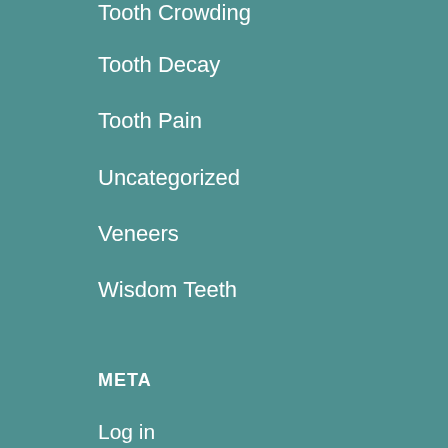Tooth Crowding
Tooth Decay
Tooth Pain
Uncategorized
Veneers
Wisdom Teeth
META
Log in
Entries feed
Comments feed
WordPress.org